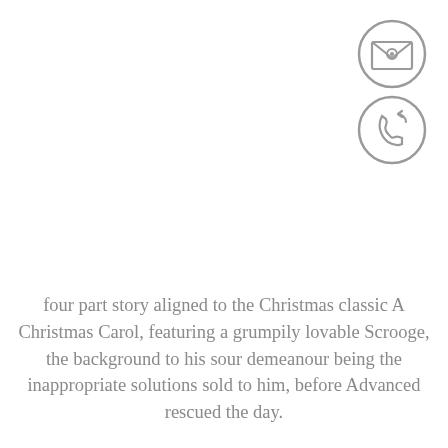[Figure (illustration): Two circular icons stacked vertically on the right side: top icon shows an envelope with an eye/target symbol, bottom icon shows a phone handset with an arrow indicating incoming/returning call. Both are outline style in grey.]
four part story aligned to the Christmas classic A Christmas Carol, featuring a grumpily lovable Scrooge, the background to his sour demeanour being the inappropriate solutions sold to him, before Advanced rescued the day.
This created a story which people could enter and engage with at any point over the four-week duration of the campaign.
Having mapped out the journey, seeded social content, placed the digital banners and delivered the eDMs, the Marketo platform ensured that destination landing pages were populated with the right personalised content - triggered by click